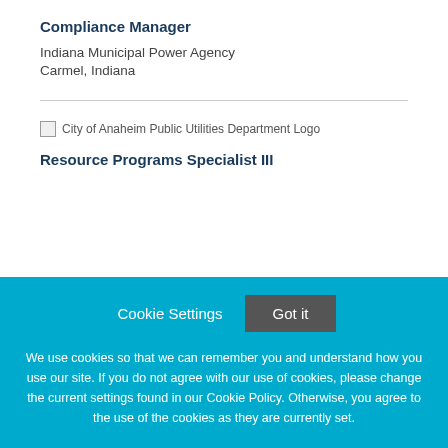Compliance Manager
Indiana Municipal Power Agency
Carmel, Indiana
[Figure (logo): City of Anaheim Public Utilities Department Logo]
Resource Programs Specialist III
Cookie Settings  Got it

We use cookies so that we can remember you and understand how you use our site. If you do not agree with our use of cookies, please change the current settings found in our Cookie Policy. Otherwise, you agree to the use of the cookies as they are currently set.